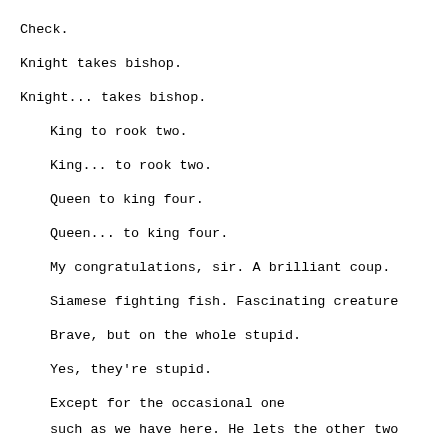Check.
Knight takes bishop.
Knight... takes bishop.
King to rook two.
King... to rook two.
Queen to king four.
Queen... to king four.
My congratulations, sir. A brilliant coup.
Siamese fighting fish. Fascinating creature
Brave, but on the whole stupid.
Yes, they're stupid.
Except for the occasional one
such as we have here. He lets the other two
while he waits.
Waits until the survivor is so exhausted th